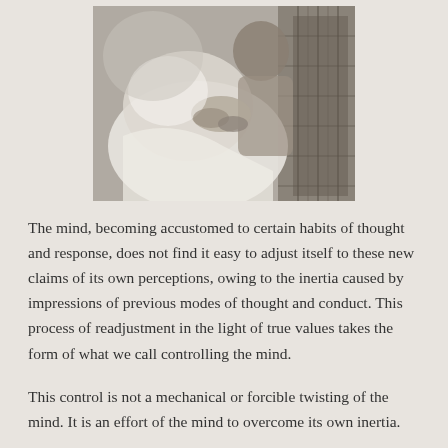[Figure (photo): Black and white photograph of two people, one appearing to be an elderly figure being supported or attended to by another person in white clothing.]
The mind, becoming accustomed to certain habits of thought and response, does not find it easy to adjust itself to these new claims of its own perceptions, owing to the inertia caused by impressions of previous modes of thought and conduct. This process of readjustment in the light of true values takes the form of what we call controlling the mind.
This control is not a mechanical or forcible twisting of the mind. It is an effort of the mind to overcome its own inertia.